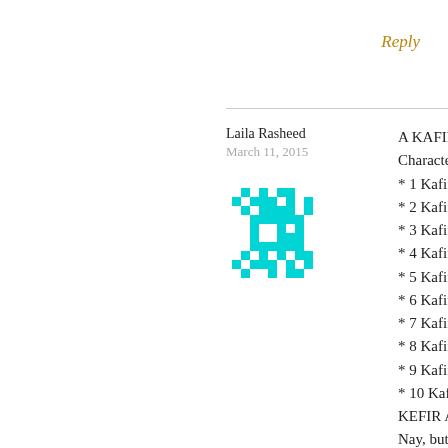Reply
Laila Rasheed
March 11, 2015
[Figure (illustration): Cyan/turquoise pixel art avatar icon]
A KAFIR IS A N Characteristics * 1 Kafir are Ar * 2 Kafir are cl * 3 Kafir are D * 4 Kafir are Ev * 5 Kafir are Gr * 6 Kafir are Li * 7 Kafir are Pe * 8 Kafir are Un * 9 Kafir are Un * 10 Kafir are t KEFIR ARE AF Nay, but those schism. Qur'an 38:2 KEFIR ARE Cl